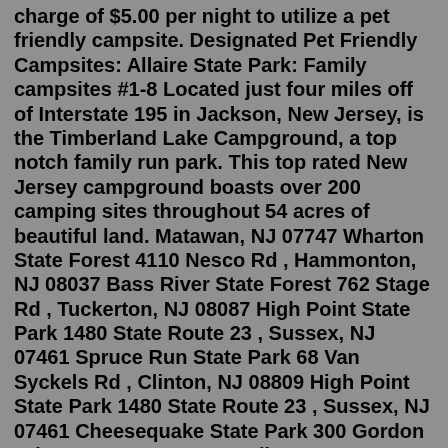charge of $5.00 per night to utilize a pet friendly campsite. Designated Pet Friendly Campsites: Allaire State Park: Family campsites #1-8 Located just four miles off of Interstate 195 in Jackson, New Jersey, is the Timberland Lake Campground, a top notch family run park. This top rated New Jersey campground boasts over 200 camping sites throughout 54 acres of beautiful land. Matawan, NJ 07747 Wharton State Forest 4110 Nesco Rd , Hammonton, NJ 08037 Bass River State Forest 762 Stage Rd , Tuckerton, NJ 08087 High Point State Park 1480 State Route 23 , Sussex, NJ 07461 Spruce Run State Park 68 Van Syckels Rd , Clinton, NJ 08809 High Point State Park 1480 State Route 23 , Sussex, NJ 07461 Cheesequake State Park 300 Gordon Rd , Matawan, NJ 07747 All US Campgrounds; Campgrounds by State; Camping Experiences; FAQ; Explore Campgrounds in High Point State Park 1480 State Route 23 , Sussex, NJ 07461 Cheesequake State Park 300 Gordon Rd ,